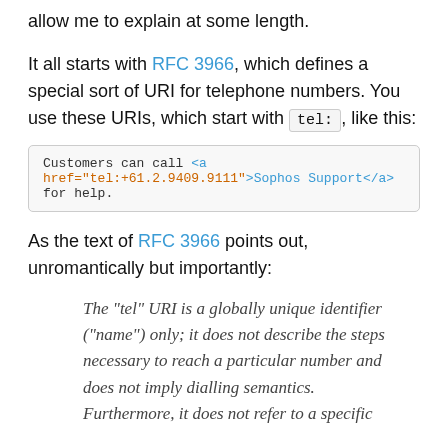allow me to explain at some length.
It all starts with RFC 3966, which defines a special sort of URI for telephone numbers. You use these URIs, which start with tel:, like this:
[Figure (screenshot): Code box showing: Customers can call <a href="tel:+61.2.9409.9111">Sophos Support</a> for help.]
As the text of RFC 3966 points out, unromantically but importantly:
The "tel" URI is a globally unique identifier ("name") only; it does not describe the steps necessary to reach a particular number and does not imply dialling semantics. Furthermore, it does not refer to a specific